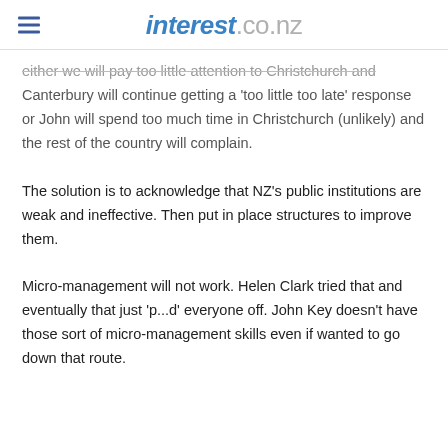interest.co.nz
either we will pay too little attention to Christchurch and Canterbury will continue getting a 'too little too late' response or John will spend too much time in Christchurch (unlikely) and the rest of the country will complain.
The solution is to acknowledge that NZ's public institutions are weak and ineffective. Then put in place structures to improve them.
Micro-management will not work. Helen Clark tried that and eventually that just 'p...d' everyone off. John Key doesn't have those sort of micro-management skills even if wanted to go down that route.